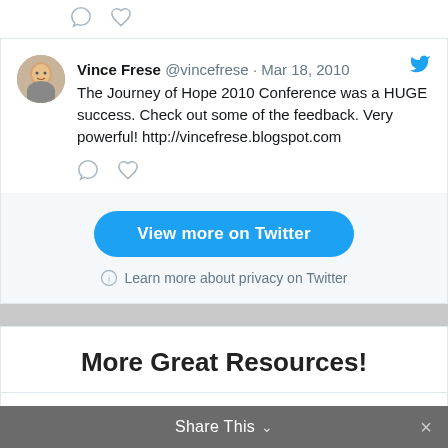[Figure (screenshot): Twitter tweet icons (comment and like) at top]
Vince Frese @vincefrese · Mar 18, 2010
The Journey of Hope 2010 Conference was a HUGE success. Check out some of the feedback. Very powerful! http://vincefrese.blogspot.com
[Figure (screenshot): Twitter tweet action icons (comment and like)]
View more on Twitter
Learn more about privacy on Twitter
More Great Resources!
[Figure (illustration): Green leaf illustration]
Share This